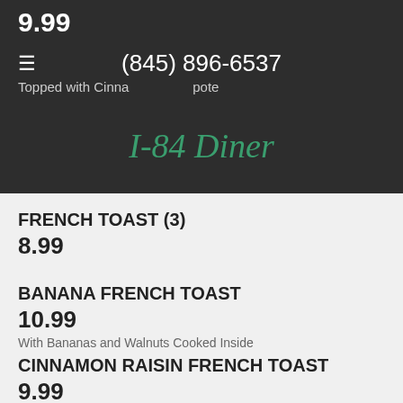9.99
Topped with Cinnamon Apple Compote
(845) 896-6537
I-84 Diner
FRENCH TOAST (3)
8.99
BANANA FRENCH TOAST
10.99
With Bananas and Walnuts Cooked Inside
CINNAMON RAISIN FRENCH TOAST
9.99